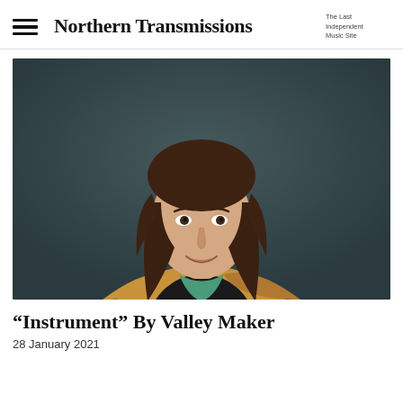Northern Transmissions — The Last Independent Music Site
[Figure (photo): Portrait photo of a person with long brown hair, smiling, wearing a tan/mustard jacket over a black shirt with a green collar visible, photographed against a dark teal/grey wall background.]
“Instrument” By Valley Maker
28 January 2021